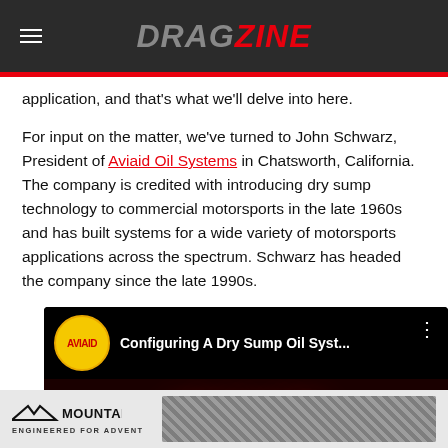DRAGZINE
application, and that's what we'll delve into here.
For input on the matter, we've turned to John Schwarz, President of Aviaid Oil Systems in Chatsworth, California. The company is credited with introducing dry sump technology to commercial motorsports in the late 1960s and has built systems for a wide variety of motorsports applications across the spectrum. Schwarz has headed the company since the late 1990s.
[Figure (screenshot): AVIAID YouTube video embed showing 'Configuring A Dry Sump Oil Syst...' with AVIAID logo circle and three-dot menu icon, with dark video thumbnail showing AVIAID brand text with red glow]
[Figure (photo): Mountain Top advertisement banner with logo, 'MOUNTAIN TOP' text, registered trademark, and 'ENGINEERED FOR ADVENTURE' tagline]